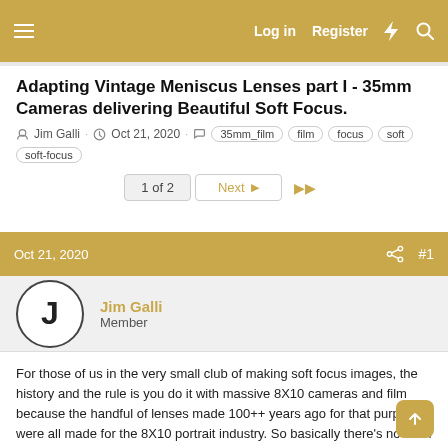Log in  Register
Adapting Vintage Meniscus Lenses part I - 35mm Cameras delivering Beautiful Soft Focus.
Jim Galli · Oct 21, 2020 · 35mm_film  film  focus  soft  soft-focus
1 of 2  Next  ▶▶
Oct 21, 2020  #1
Jim Galli
Member
For those of us in the very small club of making soft focus images, the history and the rule is you do it with massive 8X10 cameras and film because the handful of lenses made 100++ years ago for that purpose were all made for the 8X10 portrait industry. So basically there's no such thing as 35mm soft focus. At least not in the classic style.
Minolta used to offer a soft focus lens. I have one. It was a single non achromatic meniscus, in other words a .99 cent magnifying glass. It color